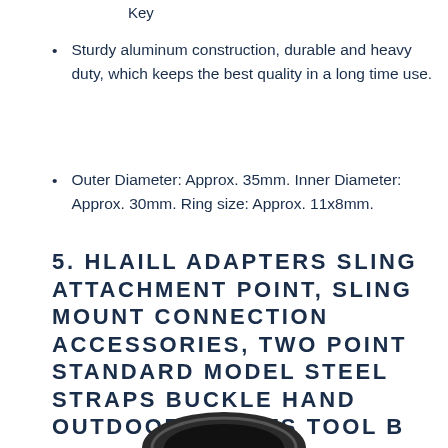Key
Sturdy aluminum construction, durable and heavy duty, which keeps the best quality in a long time use.
Outer Diameter: Approx. 35mm. Inner Diameter: Approx. 30mm. Ring size: Approx. 11x8mm.
5. HLAILL ADAPTERS SLING ATTACHMENT POINT, SLING MOUNT CONNECTION ACCESSORIES, TWO POINT STANDARD MODEL STEEL STRAPS BUCKLE HAND OUTDOOR SPORTS TOOL B
[Figure (photo): Partial view of a circular ring/buckle product shown at the bottom of the page]